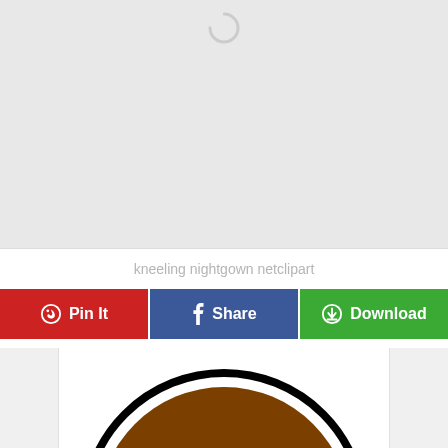[Figure (illustration): Large light gray placeholder image area with a circular loading spinner icon near the top center]
kneeling nightgown netclipart
Pin It
Share
Download
[Figure (illustration): Partial view of a circular clipart illustration showing a brown circular shape with black outline on white background, cropped at bottom of page]